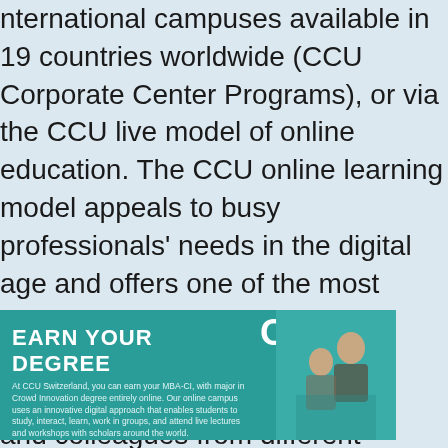international campuses available in 19 countries worldwide (CCU Corporate Center Programs), or via the CCU live model of online education. The CCU online learning model appeals to busy professionals' needs in the digital age and offers one of the most informative and challenging education models. Students interact with faculty, executives, and colleagues from different cultures, industries, and research setups via the various CCU online portals.
[Figure (illustration): Banner advertisement for CCU online degree program. Teal/turquoise background with text 'EARN YOUR DEGREE ONLINE' in white, followed by small descriptive text about MBA-CI degree. Right side shows a photo of students.]